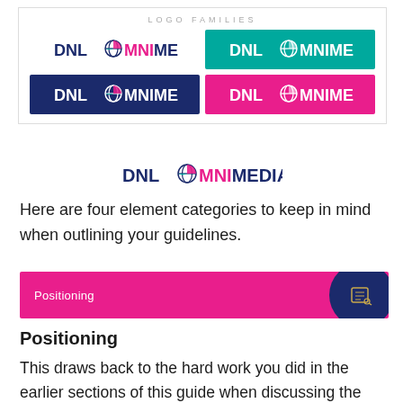[Figure (logo): Logo Families box showing four DNL OmniMedia logo variations on white, teal, navy, and pink backgrounds, plus a centered logo below]
Here are four element categories to keep in mind when outlining your guidelines.
[Figure (infographic): Pink banner with 'Positioning' text and navy circle with icon on right]
Positioning
This draws back to the hard work you did in the earlier sections of this guide when discussing the story you want to tell through your